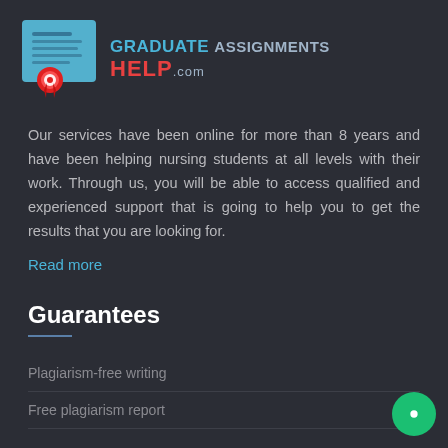[Figure (logo): Graduate Assignments Help.com logo with document icon and red ribbon badge]
Our services have been online for more than 8 years and have been helping nursing students at all levels with their work. Through us, you will be able to access qualified and experienced support that is going to help you to get the results that you are looking for.
Read more
Guarantees
Plagiarism-free writing
Free plagiarism report